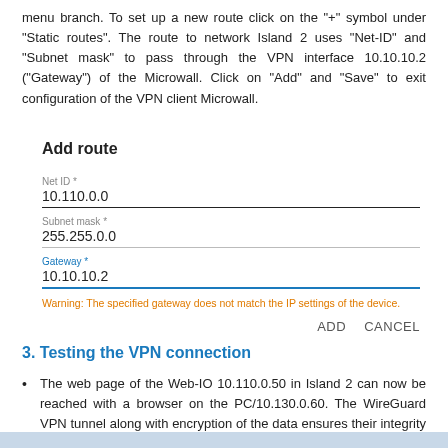menu branch. To set up a new route click on the "+" symbol under "Static routes". The route to network Island 2 uses "Net-ID" and "Subnet mask" to pass through the VPN interface 10.10.10.2 ("Gateway") of the Microwall. Click on "Add" and "Save" to exit configuration of the VPN client Microwall.
[Figure (screenshot): Add route dialog with fields: Net ID* = 10.110.0.0 (underlined in black), Subnet mask* = 255.255.0.0 (underlined in gray), Gateway* = 10.10.10.2 (underlined in blue), warning text in orange: Warning: The specified gateway does not match the IP settings of the device. Buttons: ADD and CANCEL at bottom right.]
3. Testing the VPN connection
The web page of the Web-IO 10.110.0.50 in Island 2 can now be reached with a browser on the PC/10.130.0.60. The WireGuard VPN tunnel along with encryption of the data ensures their integrity as well as authentication of the VPN client.